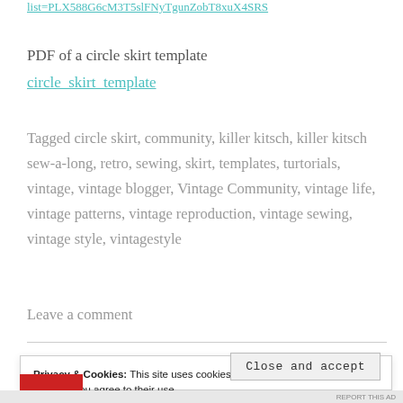list=PLX588G6cM3T5slFNyTgunZobT8xuX4SRS
PDF of a circle skirt template
circle_skirt_template
Tagged circle skirt, community, killer kitsch, killer kitsch sew-a-long, retro, sewing, skirt, templates, turtorials, vintage, vintage blogger, Vintage Community, vintage life, vintage patterns, vintage reproduction, vintage sewing, vintage style, vintagestyle
Leave a comment
Privacy & Cookies: This site uses cookies. By continuing to use this website, you agree to their use. To find out more, including how to control cookies, see here: Cookie Policy
Close and accept